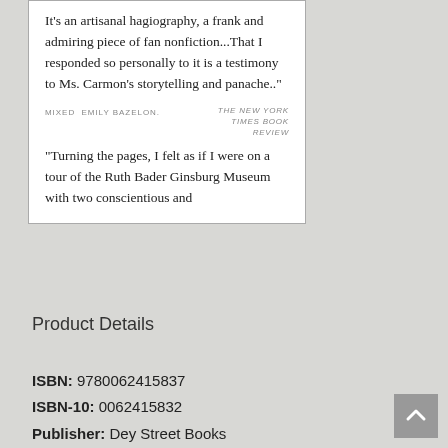It's an artisanal hagiography, a frank and admiring piece of fan nonfiction...That I responded so personally to it is a testimony to Ms. Carmon's storytelling and panache.."
MIXED  EMILY BAZELON.    THE NEW YORK TIMES BOOK REVIEW
“Turning the pages, I felt as if I were on a tour of the Ruth Bader Ginsburg Museum with two conscientious and
Product Details
ISBN: 9780062415837
ISBN-10: 0062415832
Publisher: Dey Street Books
Publication Date: October 27th, 2015
Pages: 240
Language: English